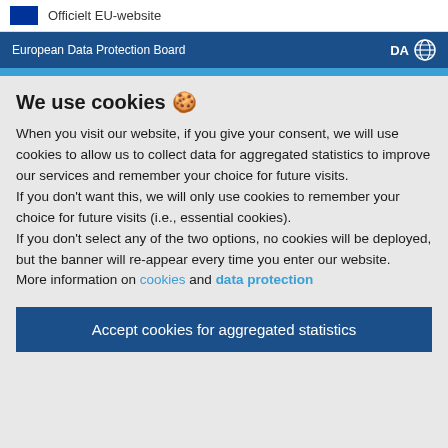Officielt EU-website
European Data Protection Board  DA
We use cookies 🍪
When you visit our website, if you give your consent, we will use cookies to allow us to collect data for aggregated statistics to improve our services and remember your choice for future visits.
If you don't want this, we will only use cookies to remember your choice for future visits (i.e., essential cookies).
If you don't select any of the two options, no cookies will be deployed, but the banner will re-appear every time you enter our website.
More information on cookies and data protection
Accept cookies for aggregated statistics